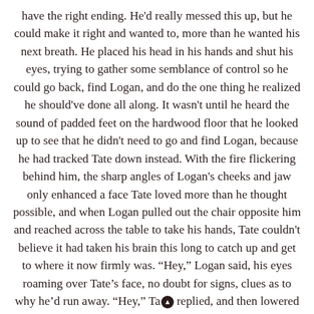have the right ending. He'd really messed this up, but he could make it right and wanted to, more than he wanted his next breath. He placed his head in his hands and shut his eyes, trying to gather some semblance of control so he could go back, find Logan, and do the one thing he realized he should've done all along. It wasn't until he heard the sound of padded feet on the hardwood floor that he looked up to see that he didn't need to go and find Logan, because he had tracked Tate down instead. With the fire flickering behind him, the sharp angles of Logan's cheeks and jaw only enhanced a face Tate loved more than he thought possible, and when Logan pulled out the chair opposite him and reached across the table to take his hands, Tate couldn't believe it had taken his brain this long to catch up and get to where it now firmly was. "Hey," Logan said, his eyes roaming over Tate's face, no doubt for signs, clues as to why he'd run away. "Hey," Tate replied, and then lowered his gaze to their hands,